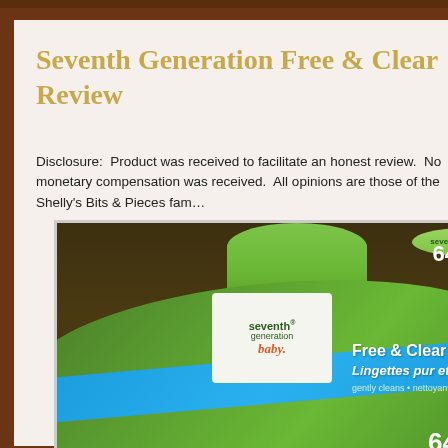Seventh Generation Free & Clear Review
Disclosure:  Product was received to facilitate an honest review.  No monetary compensation was received.  All opinions are those of the Shelly's Bits & Pieces family.
[Figure (photo): Product photo of Seventh Generation Baby Free & Clear Wipes package with green grass-textured packaging, blue stripe, and a round tub/dispenser on top. Text on package reads 'Free & Clear Wipes / Lingettes pur et simple' and '64'.]